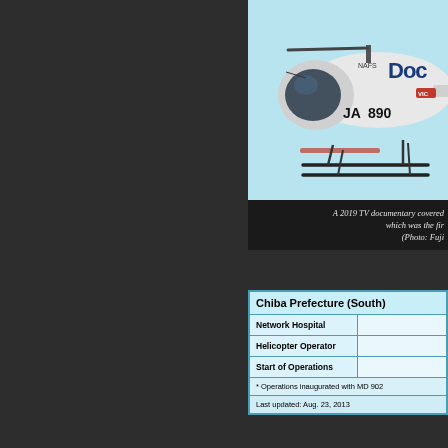[Figure (photo): A helicopter (registration JA...) with 'Doc' visible on the fuselage and 'NAFS' label, photographed against a light blue sky background. This is a medical/documentary helicopter. Partial view showing the nose and front section of the aircraft.]
A 2019 TV documentary covered which was the fir (Photo: Fuji
| Chiba Prefecture (South) |  |
| --- | --- |
| Network Hospital |  |
| Helicopter Operator |  |
| Start of Operations |  |
| * Operations inaugurated with MD 902 |  |
| Last updated: Aug. 23, 2013 |  |